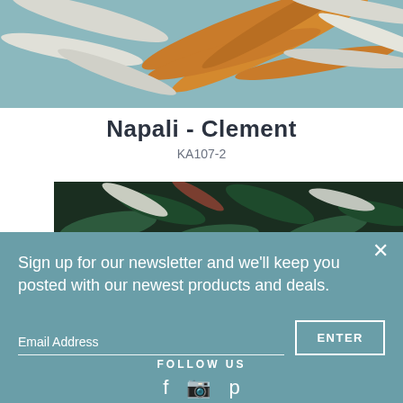[Figure (photo): Tropical leaf wallpaper pattern with orange/gold and grey-white palm fronds on a teal-grey background]
Napali - Clement
KA107-2
[Figure (photo): Tropical leaf pattern with dark green, white, rust/orange feathery leaves on dark background]
Sign up for our newsletter and we'll keep you posted with our newest products and deals.
Email Address
ENTER
FOLLOW US